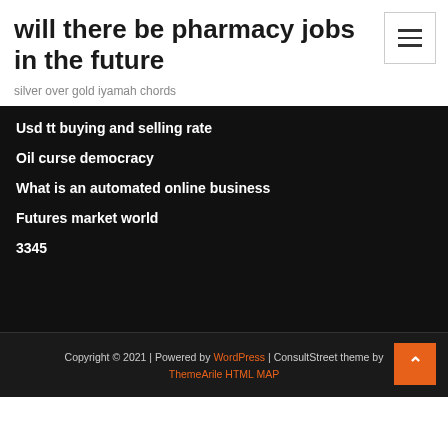will there be pharmacy jobs in the future
silver over gold iyamah chords
Usd tt buying and selling rate
Oil curse democracy
What is an automated online business
Futures market world
3345
Copyright © 2021 | Powered by WordPress | ConsultStreet theme by ThemeArile HTML MAP